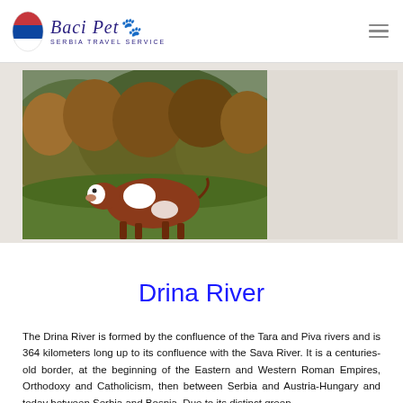Baci Pet — SERBIA TRAVEL SERVICE
[Figure (photo): A brown and white cow standing on a grassy hillside with forested mountains in the background]
Drina River
The Drina River is formed by the confluence of the Tara and Piva rivers and is 364 kilometers long up to its confluence with the Sava River. It is a centuries-old border, at the beginning of the Eastern and Western Roman Empires, Orthodoxy and Catholicism, then between Serbia and Austria-Hungary and today between Serbia and Bosnia. Due to its distinct green